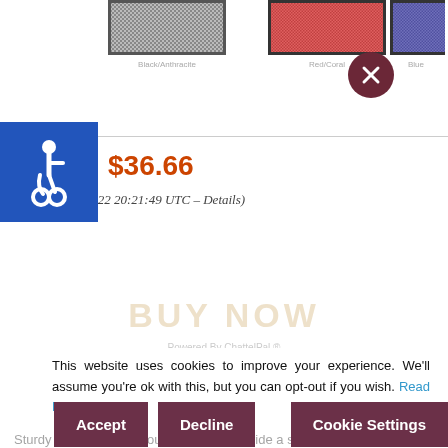[Figure (screenshot): Three product swatches: gray textured, red/coral textured, blue/purple textured, each with dark border, shown at top of page]
$36.66
(as of Jan 30,2022 20:21:49 UTC – Details)
BUY NOW
This website uses cookies to improve your experience. We'll assume you're ok with this, but you can opt-out if you wish. Read More
Sa... 100 sheets of wide ruled paper in each; a stock-up staple for your sc...
Sturdy covers protect your notes and provide a solid writing...